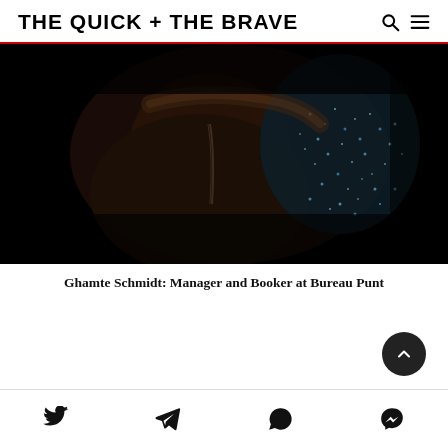THE QUICK + THE BRAVE
[Figure (photo): Dark close-up photograph of a person wearing a sequined/sparkly jacket with zipper details, mostly in shadow against a black background]
Ghamte Schmidt: Manager and Booker at Bureau Punt
Social share icons: Twitter, Telegram, WhatsApp, Messenger